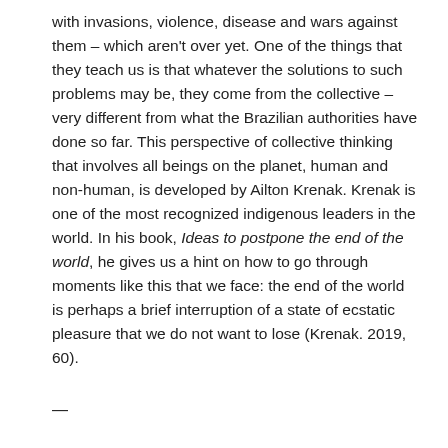with invasions, violence, disease and wars against them – which aren't over yet. One of the things that they teach us is that whatever the solutions to such problems may be, they come from the collective – very different from what the Brazilian authorities have done so far. This perspective of collective thinking that involves all beings on the planet, human and non-human, is developed by Ailton Krenak. Krenak is one of the most recognized indigenous leaders in the world. In his book, Ideas to postpone the end of the world, he gives us a hint on how to go through moments like this that we face: the end of the world is perhaps a brief interruption of a state of ecstatic pleasure that we do not want to lose (Krenak. 2019, 60).
—